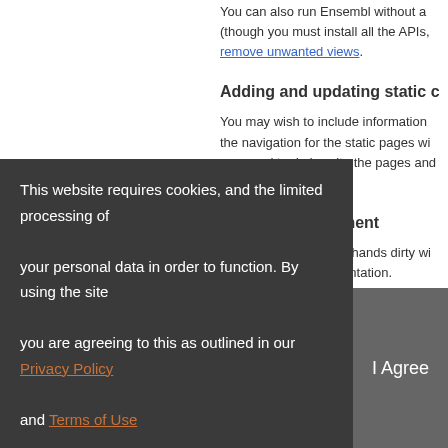You can also run Ensembl without a mirror (though you must install all the APIs, remove unwanted views).
Adding and updating static c
You may wish to include information the navigation for the static pages wi you need to do is write the pages and pages.
Further development
If you want to get your hands dirty wi section of this documentation.
Ensembl Bacteria release 54 - Jul 2022 © EMBL-EBI
About Us
About Us
Contact Us
Citing Ensembl
This website requires cookies, and the limited processing of your personal data in order to function. By using the site you are agreeing to this as outlined in our Privacy Policy and Terms of Use
I Agree